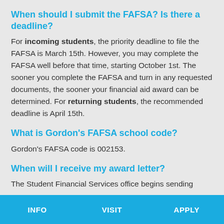When should I submit the FAFSA? Is there a deadline?
For incoming students, the priority deadline to file the FAFSA is March 15th. However, you may complete the FAFSA well before that time, starting October 1st. The sooner you complete the FAFSA and turn in any requested documents, the sooner your financial aid award can be determined. For returning students, the recommended deadline is April 15th.
What is Gordon's FAFSA school code?
Gordon's FAFSA code is 002153.
When will I receive my award letter?
The Student Financial Services office begins sending
INFO   VISIT   APPLY